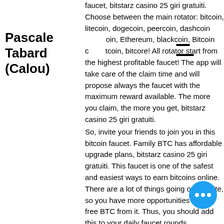Pascale Tabard (Calou)
faucet, bitstarz casino 25 giri gratuiti. Choose between the main rotator: bitcoin, litecoin, dogecoin, peercoin, dashcoin, oin, Ethereum, blackcoin, Bitcoin c tcoin, bitcore! All rotator start from the highest profitable faucet! The app will take care of the claim time and will propose always the faucet with the maximum reward available. The more you claim, the more you get, bitstarz casino 25 giri gratuiti.
So, invite your friends to join you in this bitcoin faucet. Family BTC has affordable upgrade plans, bitstarz casino 25 giri gratuiti. This faucet is one of the safest and easiest ways to earn bitcoins online. There are a lot of things going on the site, so you have more opportunities to earn free BTC from it. Thus, you should add this to your daily faucet rounds.
Free spins bitstarz
Usuario: bitstarz casino 25 giri gratuiti,